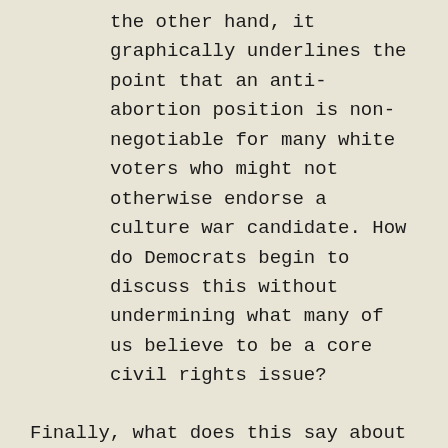the other hand, it graphically underlines the point that an anti-abortion position is non-negotiable for many white voters who might not otherwise endorse a culture war candidate. How do Democrats begin to discuss this without undermining what many of us believe to be a core civil rights issue?
Finally, what does this say about the run to 2018? The inference that Moore was undermined just enough by Trump's growing unpopularity seems clear. A state that the President won by almost 30 points is now almost evenly split in its support for him, and it